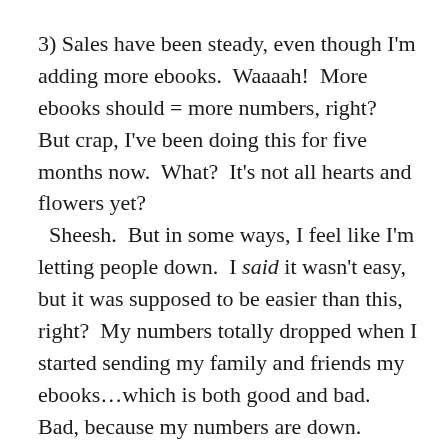3) Sales have been steady, even though I'm adding more ebooks.  Waaaah!  More ebooks should = more numbers, right?  But crap, I've been doing this for five months now.  What?  It's not all hearts and flowers yet?   Sheesh.  But in some ways, I feel like I'm letting people down.  I said it wasn't easy, but it was supposed to be easier than this, right?  My numbers totally dropped when I started sending my family and friends my ebooks…which is both good and bad.  Bad, because my numbers are down.  Good, because I have a better sense of how I'm doing.
4) I got annoyed at the amount of crap that was filling my inbox, so I've been on a mission to unsubscribe this